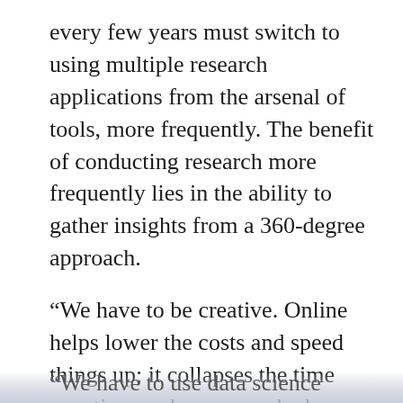every few years must switch to using multiple research applications from the arsenal of tools, more frequently. The benefit of conducting research more frequently lies in the ability to gather insights from a 360-degree approach.
“We have to be creative. Online helps lower the costs and speed things up; it collapses the time equation, and we can unlock behavior faster,” said Carlson.
“We have to use data science